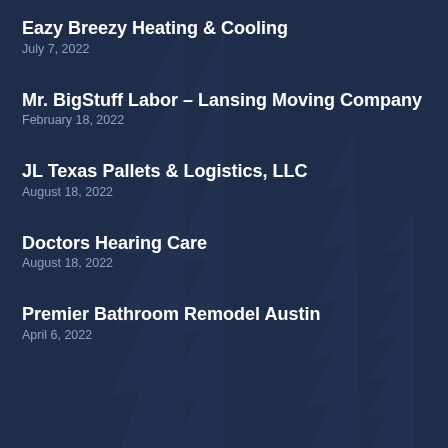Eazy Breezy Heating & Cooling
July 7, 2022
Mr. BigStuff Labor – Lansing Moving Company
February 18, 2022
JL Texas Pallets & Logistics, LLC
August 18, 2022
Doctors Hearing Care
August 18, 2022
Premier Bathroom Remodel Austin
April 6, 2022